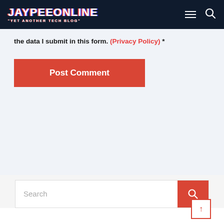JAYPEEONLINE "YET ANOTHER TECH BLOG"
the data I submit in this form. (Privacy Policy) *
[Figure (other): Post Comment button - red rectangle with white text]
[Figure (other): Search bar with red search button icon and back-to-top arrow button]